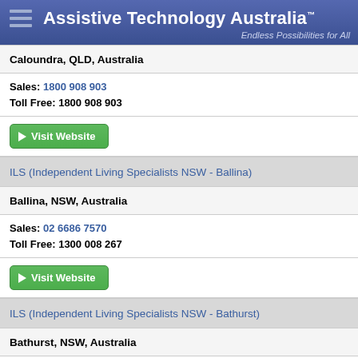Assistive Technology Australia™ — Endless Possibilities for All
Caloundra, QLD, Australia
Sales: 1800 908 903
Toll Free: 1800 908 903
Visit Website
ILS (Independent Living Specialists NSW - Ballina)
Ballina, NSW, Australia
Sales: 02 6686 7570
Toll Free: 1300 008 267
Visit Website
ILS (Independent Living Specialists NSW - Bathurst)
Bathurst, NSW, Australia
Sales: 02 6332 6453
Toll Free: 1300 008 267